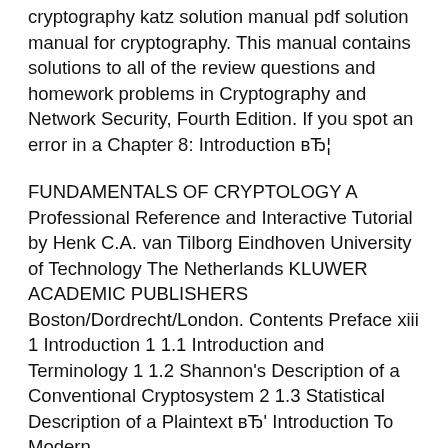cryptography katz solution manual pdf solution manual for cryptography. This manual contains solutions to all of the review questions and homework problems in Cryptography and Network Security, Fourth Edition. If you spot an error in a Chapter 8: Introduction вЂ¦
FUNDAMENTALS OF CRYPTOLOGY A Professional Reference and Interactive Tutorial by Henk C.A. van Tilborg Eindhoven University of Technology The Netherlands KLUWER ACADEMIC PUBLISHERS Boston/Dordrecht/London. Contents Preface xiii 1 Introduction 1 1.1 Introduction and Terminology 1 1.2 Shannon's Description of a Conventional Cryptosystem 2 1.3 Statistical Description of a Plaintext вЂ' Introduction To Modern